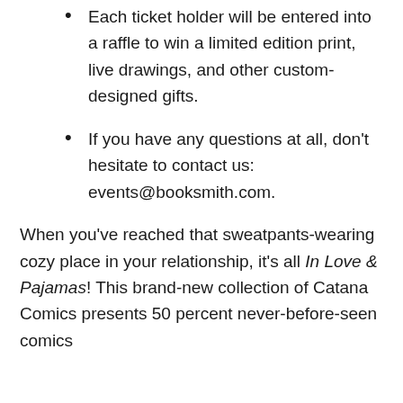Each ticket holder will be entered into a raffle to win a limited edition print, live drawings, and other custom-designed gifts.
If you have any questions at all, don't hesitate to contact us: events@booksmith.com.
When you've reached that sweatpants-wearing cozy place in your relationship, it's all In Love & Pajamas! This brand-new collection of Catana Comics presents 50 percent never-before-seen comics